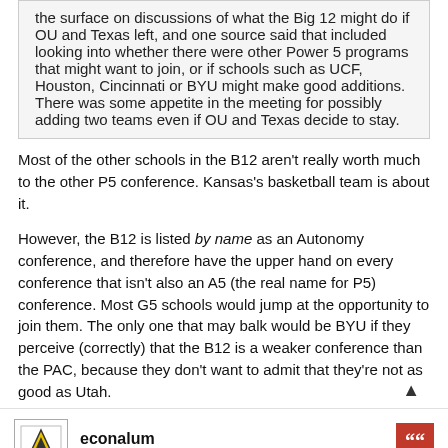the surface on discussions of what the Big 12 might do if OU and Texas left, and one source said that included looking into whether there were other Power 5 programs that might want to join, or if schools such as UCF, Houston, Cincinnati or BYU might make good additions. There was some appetite in the meeting for possibly adding two teams even if OU and Texas decide to stay.
Most of the other schools in the B12 aren't really worth much to the other P5 conference. Kansas's basketball team is about it.
However, the B12 is listed by name as an Autonomy conference, and therefore have the upper hand on every conference that isn't also an A5 (the real name for P5) conference. Most G5 schools would jump at the opportunity to join them. The only one that may balk would be BYU if they perceive (correctly) that the B12 is a weaker conference than the PAC, because they don't want to admit that they're not as good as Utah.
econalum
Hall of Fame
Re: Texas/Oklahoma official announce moving to the SEC
Mon Jul 26, 2021 12:33 pm
After joining the SEC, expanded discussion...